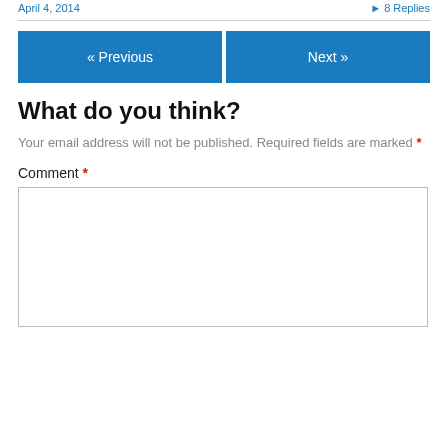April 4, 2014   ▸ 8 Replies
« Previous   Next »
What do you think?
Your email address will not be published. Required fields are marked *
Comment *